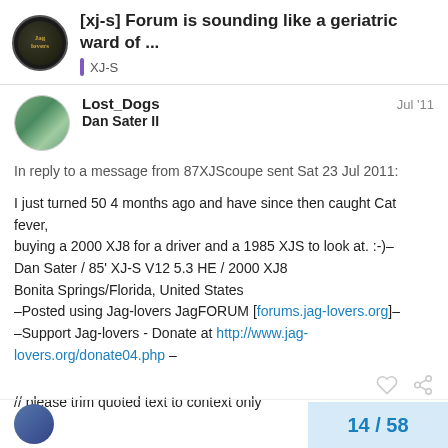[xj-s] Forum is sounding like a geriatric ward of ... XJ-S
Lost_Dogs Dan Sater II Jul '11
In reply to a message from 87XJScoupe sent Sat 23 Jul 2011:
I just turned 50 4 months ago and have since then caught Cat fever,
buying a 2000 XJ8 for a driver and a 1985 XJS to look at. :-)–
Dan Sater / 85' XJ-S V12 5.3 HE / 2000 XJ8
Bonita Springs/Florida, United States
–Posted using Jag-lovers JagFORUM [forums.jag-lovers.org]–
–Support Jag-lovers - Donate at http://www.jag-lovers.org/donate04.php –
// please trim quoted text to context only
14 / 58